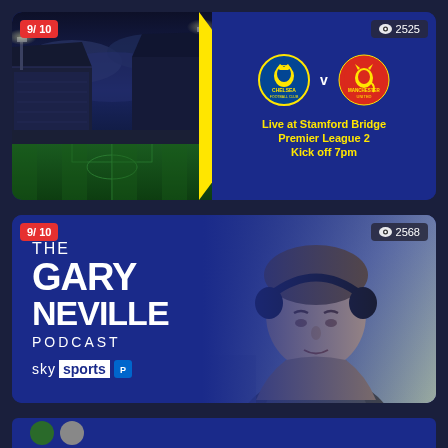[Figure (screenshot): Card showing Chelsea vs Manchester United match. Left half: photo of Stamford Bridge stadium at night with floodlights. Right half: dark blue background with Chelsea and Manchester United crests, 'v' between them. Text: 'Live at Stamford Bridge', 'Premier League 2', 'Kick off 7pm' in yellow. Rating badge '9/10' top-left in red. View count '2525' top-right.]
[Figure (screenshot): Card showing The Gary Neville Podcast on Sky Sports. Left side: dark blue with text 'THE GARY NEVILLE PODCAST sky sports'. Right side: photo/image of Gary Neville wearing headphones. Rating badge '9/10' top-left in red. View count '2568' top-right.]
[Figure (screenshot): Partial third card visible at bottom of page.]